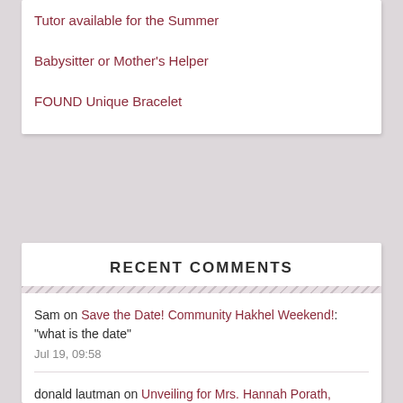Tutor available for the Summer
Babysitter or Mother's Helper
FOUND Unique Bracelet
RECENT COMMENTS
Sam on Save the Date! Community Hakhel Weekend!: "what is the date"
Jul 19, 09:58
donald lautman on Unveiling for Mrs. Hannah Porath, OB"M: "Your parents were parents to all of us and the memories of them are one of smiles, fun, concern, and…"
Jul 3, 13:08
Dsa on The Dial-a-Rebbi Line! Call to get all of